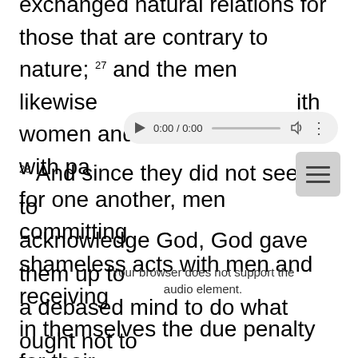exchanged natural relations for those that are contrary to nature; 27 and the men likewise with women and were consumed with passion for one another, men committing shameless acts with men and receiving in themselves the due penalty for their error.
[Figure (other): Browser audio player overlay showing '0:00 / 0:00' with play button, progress bar, volume icon, and menu icon, along with fallback text 'Your browser does not support the audio element.']
28 And since they did not see fit to acknowledge God, God gave them up to a debased mind to do what ought not to